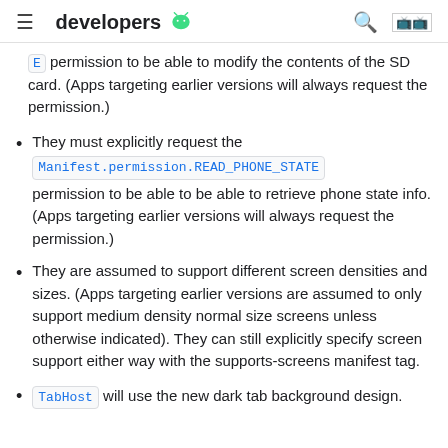developers
permission to be able to modify the contents of the SD card. (Apps targeting earlier versions will always request the permission.)
They must explicitly request the Manifest.permission.READ_PHONE_STATE permission to be able to be able to retrieve phone state info. (Apps targeting earlier versions will always request the permission.)
They are assumed to support different screen densities and sizes. (Apps targeting earlier versions are assumed to only support medium density normal size screens unless otherwise indicated). They can still explicitly specify screen support either way with the supports-screens manifest tag.
TabHost will use the new dark tab background design.